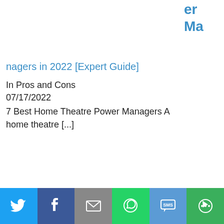er Ma
nagers in 2022 [Expert Guide]
In Pros and Cons
07/17/2022
7 Best Home Theatre Power Managers A home theatre [...]
[Figure (other): Thumbnail image for House of Fun Free Coins article]
House of Fun Free Coins
Twitter, Facebook, Email, WhatsApp, SMS, More share buttons